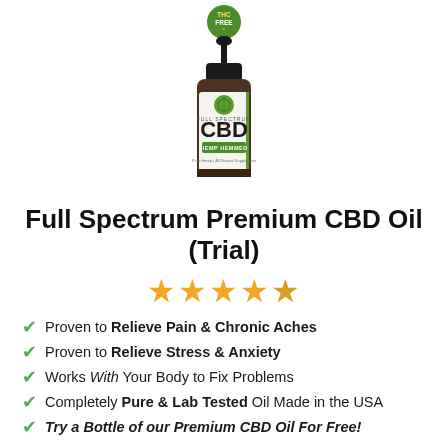[Figure (photo): CBD oil dropper bottle with THC FREE badge on top. Brown glass bottle labeled Full Spectrum CBD, with green hemp leaf logo and green accent stripe on white label.]
Full Spectrum Premium CBD Oil (Trial)
★★★★★ (5 star rating)
Proven to Relieve Pain & Chronic Aches
Proven to Relieve Stress & Anxiety
Works With Your Body to Fix Problems
Completely Pure & Lab Tested Oil Made in the USA
Try a Bottle of our Premium CBD Oil For Free!